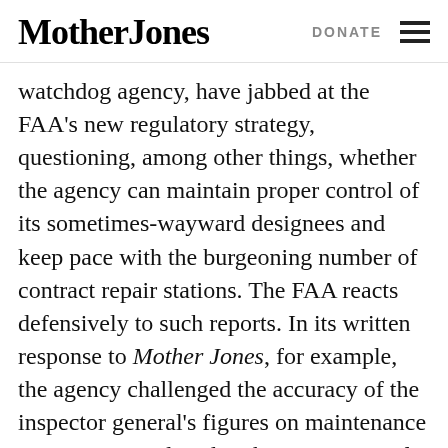Mother Jones | DONATE
watchdog agency, have jabbed at the FAA’s new regulatory strategy, questioning, among other things, whether the agency can maintain proper control of its sometimes-wayward designees and keep pace with the burgeoning number of contract repair stations. The FAA reacts defensively to such reports. In its written response to Mother Jones, for example, the agency challenged the accuracy of the inspector general’s figures on maintenance outsourcing and said, “The proportion of money spent on outsourced maintenance does not correlate to safety.” It also stands by its data-intensive oversight system, which has gradually supplanted its old inspection strategy of combing